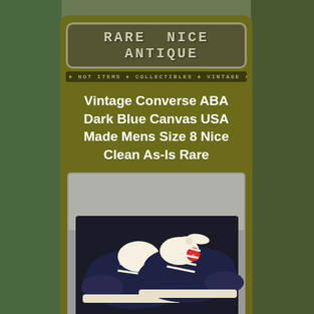RARE NICE ANTIQUE
Vintage Converse ABA Dark Blue Canvas USA Made Mens Size 8 Nice Clean As-Is Rare
[Figure (photo): Photograph of a pair of vintage dark navy blue Converse canvas low-top sneakers with white laces and a red Converse logo badge, placed on a gray textile surface]